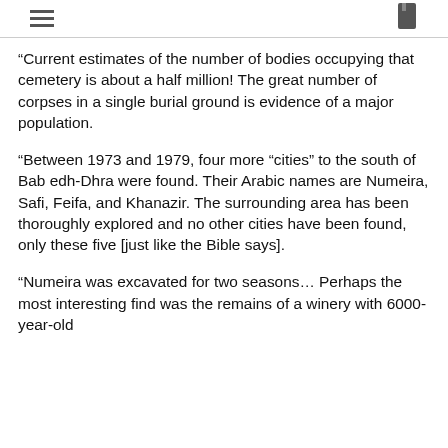[hamburger menu icon] [bookmark icon]
“Current estimates of the number of bodies occupying that cemetery is about a half million!  The great number of corpses in a single burial ground is evidence of a major population.
“Between 1973 and 1979, four more “cities” to the south of Bab edh-Dhra were found.  Their Arabic names are Numeira, Safi, Feifa, and Khanazir.  The surrounding area has been thoroughly explored and no other cities have been found, only these five [just like the Bible says].
“Numeira was excavated for two seasons… Perhaps the most interesting find was the remains of a winery with 6000-year-old